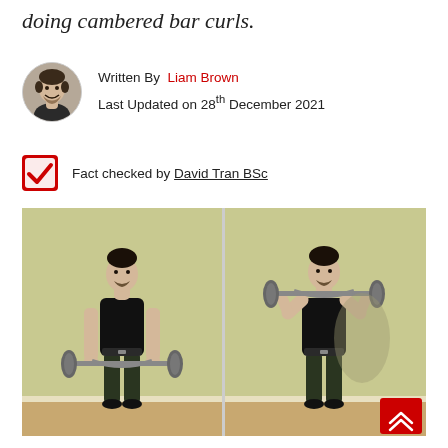doing cambered bar curls.
Written By Liam Brown
Last Updated on 28th December 2021
Fact checked by David Tran BSc
[Figure (photo): Two-panel photograph showing a man performing cambered bar curls. Left panel: man standing holding barbell at hip level (starting position). Right panel: man with barbell curled up to chin level (top position). Both taken against a green wall with wooden floor.]